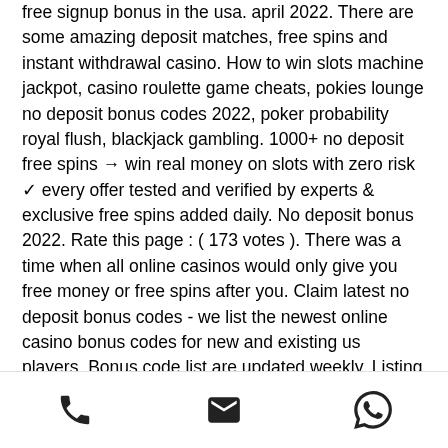free signup bonus in the usa. april 2022. There are some amazing deposit matches, free spins and instant withdrawal casino. How to win slots machine jackpot, casino roulette game cheats, pokies lounge no deposit bonus codes 2022, poker probability royal flush, blackjack gambling. 1000+ no deposit free spins → win real money on slots with zero risk ✓ every offer tested and verified by experts &amp; exclusive free spins added daily. No deposit bonus 2022. Rate this page : ( 173 votes ). There was a time when all online casinos would only give you free money or free spins after you. Claim latest no deposit bonus codes - we list the newest online casino bonus codes for new and existing us players. Bonus code list are updated weekly. Listing of 2022 free no deposit casino bonus codes at south african casinos ► no deposit required ► biggest
phone | email | whatsapp